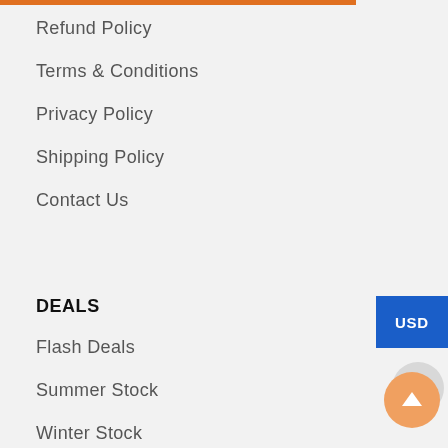Refund Policy
Terms & Conditions
Privacy Policy
Shipping Policy
Contact Us
DEALS
Flash Deals
Summer Stock
Winter Stock